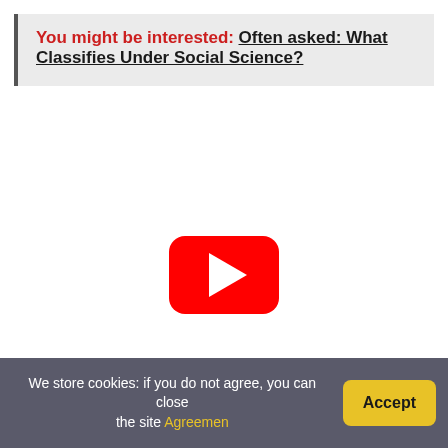You might be interested: Often asked: What Classifies Under Social Science?
[Figure (other): YouTube video placeholder with red play button]
How long is a social...
We store cookies: if you do not agree, you can close the site Agreemen